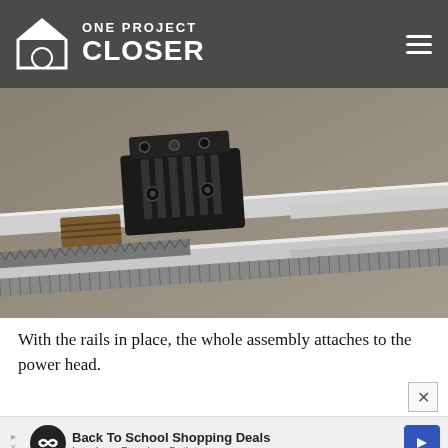ONE PROJECT CLOSER
[Figure (photo): Close-up photograph of a metal rail assembly with black plastic components, screws, and a coiled spring mechanism on a metallic track surface.]
With the rails in place, the whole assembly attaches to the power head.
[Figure (screenshot): Advertisement banner: Back To School Shopping Deals - Leesburg Premium Outlets]